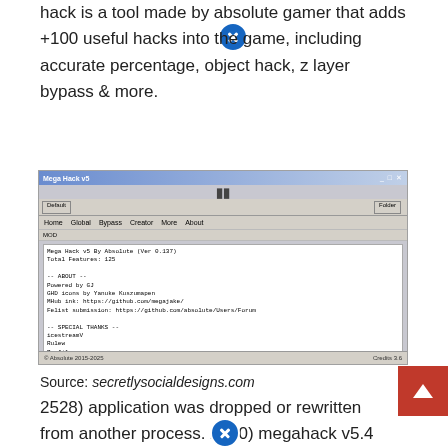hack is a tool made by absolute gamer that adds +100 useful hacks into the game, including accurate percentage, object hack, z layer bypass & more.
[Figure (screenshot): Screenshot of Mega Hack application window showing menu bar, toolbar with buttons, and a text content area listing hack features and credits.]
Source: secretlysocialdesigns.com
2528) application was dropped or rewritten from another process. 2240) megahack v5.4 setup.exe (pid: